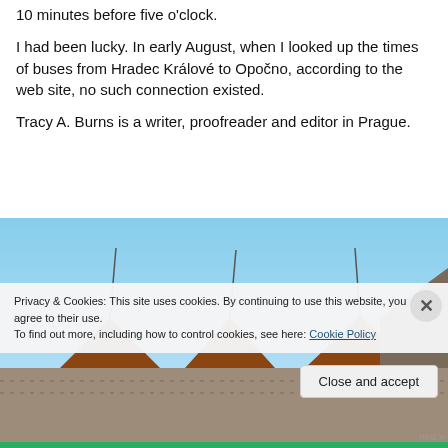10 minutes before five o'clock.
I had been lucky. In early August, when I looked up the times of buses from Hradec Králové to Opočno, according to the web site, no such connection existed.
Tracy A. Burns is a writer, proofreader and editor in Prague.
[Figure (photo): Photo showing the rooftop of a building with several lightning rods or antennae against a clear blue sky, with red/brown dormer peaks visible.]
Privacy & Cookies: This site uses cookies. By continuing to use this website, you agree to their use.
To find out more, including how to control cookies, see here: Cookie Policy
Close and accept